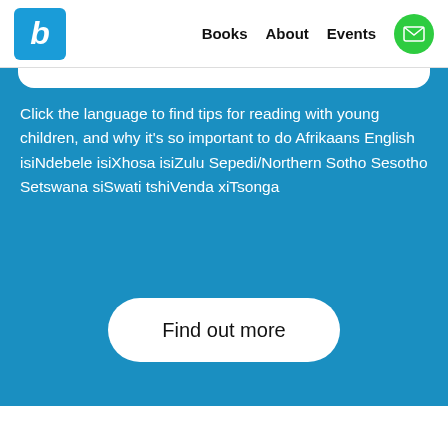b  Books  About  Events
Click the language to find tips for reading with young children, and why it’s so important to do Afrikaans English isiNdebele isiXhosa isiZulu Sepedi/Northern Sotho Sesotho Setswana siSwati tshiVenda xiTsonga
Find out more
Why we do what we do: Why must all